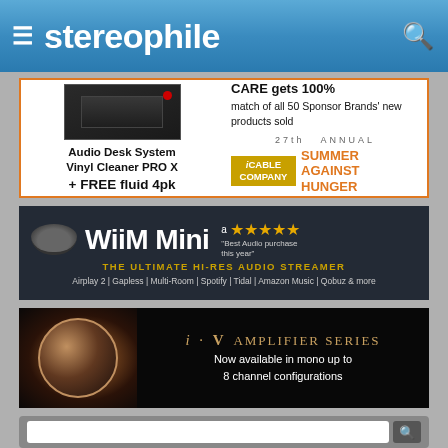stereophile
[Figure (screenshot): Advertisement for Audio Desk System Vinyl Cleaner PRO X + FREE fluid 4pk, and Cable Company 27th Annual Summer Against Hunger promotion with CARE gets 100% match of all 50 Sponsor Brands' new products sold]
[Figure (screenshot): Advertisement for WiiM Mini - The Ultimate Hi-Res Audio Streamer. Amazon 4-star rating. Best Audio purchase this year. Features: Airplay 2 | Gapless | Multi-Room | Spotify | Tidal | Amazon Music | Qobuz & more]
[Figure (screenshot): Advertisement for i·V Amplifier Series. Now available in mono up to 8 channel configurations]
[Figure (screenshot): Bottom search bar with search input and search button]